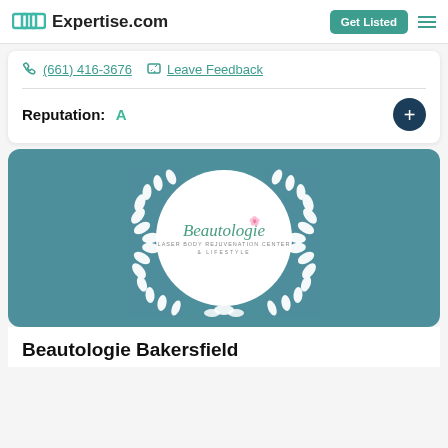Expertise.com — Get Listed
(661) 416-3676   Leave Feedback
Reputation: A
[Figure (logo): Beautologie business logo inside a white circle with white laurel wreath on teal background]
Beautologie Bakersfield